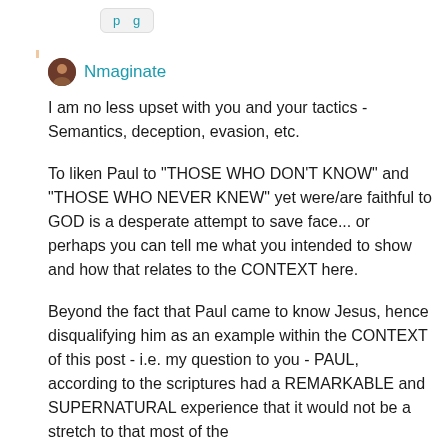[Figure (screenshot): Top partial UI button area with light gray button showing text]
Nmaginate
I am no less upset with you and your tactics - Semantics, deception, evasion, etc.
To liken Paul to "THOSE WHO DON'T KNOW" and "THOSE WHO NEVER KNEW" yet were/are faithful to GOD is a desperate attempt to save face... or perhaps you can tell me what you intended to show and how that relates to the CONTEXT here.
Beyond the fact that Paul came to know Jesus, hence disqualifying him as an example within the CONTEXT of this post - i.e. my question to you - PAUL, according to the scriptures had a REMARKABLE and SUPERNATURAL experience that it would not be a stretch to that most of the